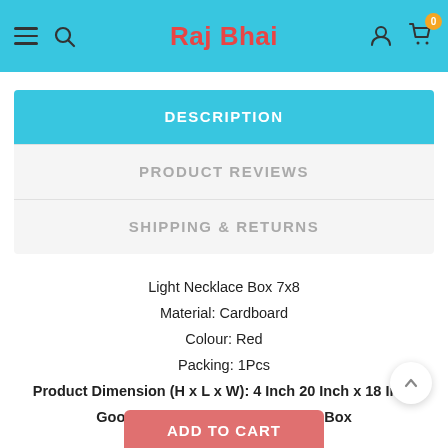Raj Bhai
DESCRIPTION
PRODUCT REVIEWS
SHIPPING & RETURNS
Light Necklace Box 7x8
Material: Cardboard
Colour: Red
Packing: 1Pcs
Product Dimension (H x L x W): 4 Inch 20 Inch x 18 Inch
Good Quality Designer Necklace Box